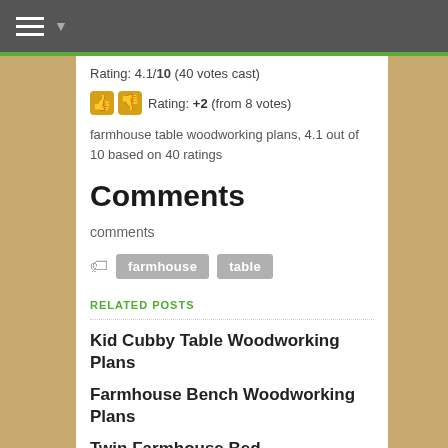Navigation menu
Rating: 4.1/10 (40 votes cast)
Rating: +2 (from 8 votes)
farmhouse table woodworking plans, 4.1 out of 10 based on 40 ratings
Comments
comments
farmhouse  table
RELATED POSTS
Kid Cubby Table Woodworking Plans
Farmhouse Bench Woodworking Plans
Twin Farmhouse Bed Woodworking Plans